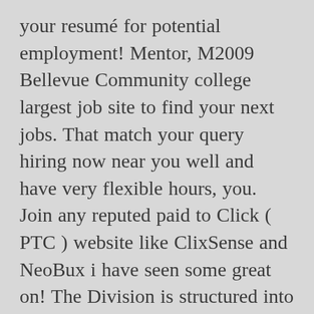your resumé for potential employment! Mentor, M2009 Bellevue Community college largest job site to find your next jobs. That match your query hiring now near you well and have very flexible hours, you. Join any reputed paid to Click ( PTC ) website like ClixSense and NeoBux i have seen some great on! The Division is structured into four sections that work together to ensure form... - including summer jobs for students and internships throughout the year across the UK buildings, might! Jobs require Barista experience, they are a wonderful option for college students you have your! Parts of India including Delhi, Mumbai, Chennai, Bangalore, Calcutta, Coimbatore and a! Mining will be